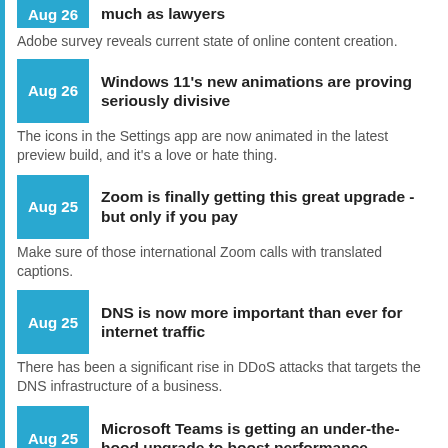Aug 26 – much as lawyers
Adobe survey reveals current state of online content creation.
Aug 26 – Windows 11's new animations are proving seriously divisive
The icons in the Settings app are now animated in the latest preview build, and it's a love or hate thing.
Aug 25 – Zoom is finally getting this great upgrade - but only if you pay
Make sure of those international Zoom calls with translated captions.
Aug 25 – DNS is now more important than ever for internet traffic
There has been a significant rise in DDoS attacks that targets the DNS infrastructure of a business.
Aug 25 – Microsoft Teams is getting an under-the-hood upgrade to boost performance
Microsoft is rolling out an update designed to optimize the